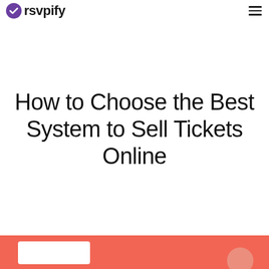rsvpify
How to Choose the Best System to Sell Tickets Online
[Figure (illustration): Orange/coral banner at bottom of page, partially visible, containing a white card element and a figure graphic on the right side]